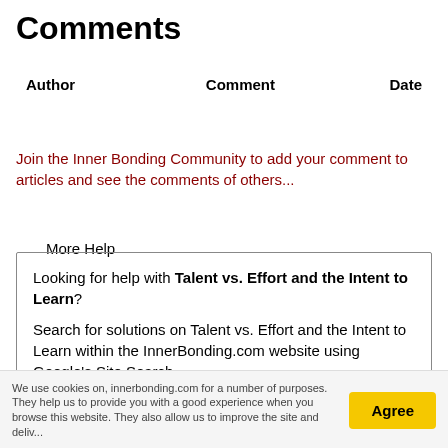Comments
| Author | Comment | Date |
| --- | --- | --- |
Join the Inner Bonding Community to add your comment to articles and see the comments of others...
More Help
Looking for help with Talent vs. Effort and the Intent to Learn?
Search for solutions on Talent vs. Effort and the Intent to Learn within the InnerBonding.com website using Google's Site Search.
We use cookies on, innerbonding.com for a number of purposes. They help us to provide you with a good experience when you browse this website. They also allow us to improve the site and deliv...